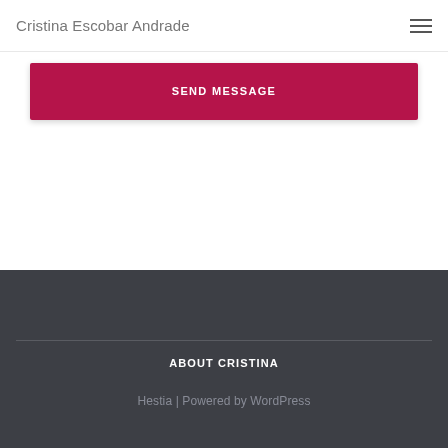Cristina Escobar Andrade
SEND MESSAGE
ABOUT CRISTINA
Hestia | Powered by WordPress